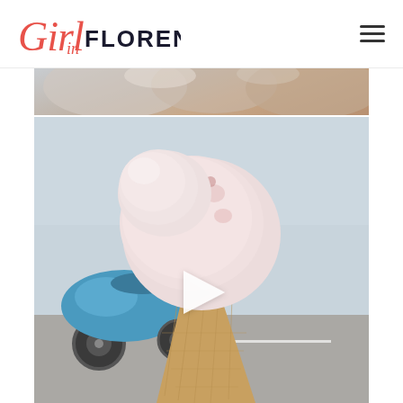Girl in Florence - navigation header with logo and hamburger menu
[Figure (photo): Partial top image showing blurred gelato scoops in warm brown/beige tones]
[Figure (photo): Instagram-style video thumbnail showing a pink gelato ice cream cone held by a hand, with a blue Vespa scooter in the background on a street. A white play button triangle is overlaid in the center.]